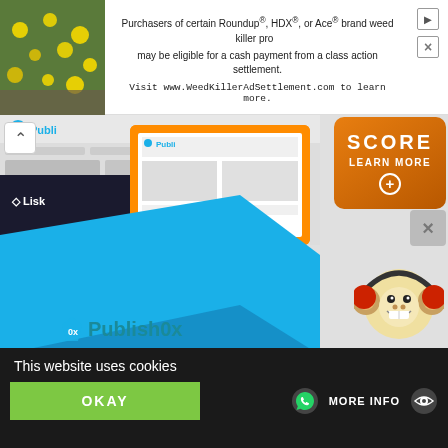[Figure (screenshot): Advertisement banner at top of page. Left side shows a photo of yellow flowers on stone. Center text reads: 'Purchasers of certain Roundup®, HDX®, or Ace® brand weed killer products may be eligible for a cash payment from a class action settlement. Visit www.WeedKillerAdSettlement.com to learn more.' Right side has arrow and X icons.]
[Figure (screenshot): Main content area showing Publish0x website screenshot with blue book/tablet, Lisk logo, Publish0x logo with monkey mascot wearing red headphones, and SCORE LEARN MORE orange badge in top right corner.]
DISCOVERED
This website uses cookies
OKAY
MORE INFO